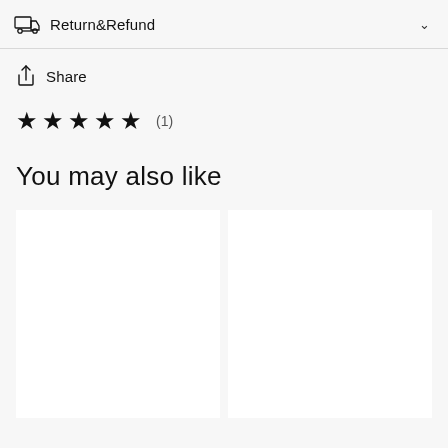Return&Refund
Share
★ ★ ★ ★ ★  (1)
You may also like
[Figure (other): Two white empty product image placeholder cards side by side]